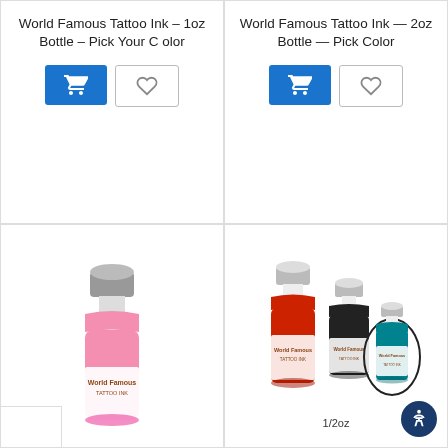World Famous Tattoo Ink – 1oz Bottle – Pick Your Color
World Famous Tattoo Ink — 2oz Bottle — Pick Color
[Figure (photo): Pink 1oz World Famous Tattoo Ink bottle with branded label]
[Figure (photo): Three World Famous Tattoo Ink bottles (red 2oz, black 1oz, teal 1/2oz) with an oval circle highlighting the smallest bottle labeled 1/2oz]